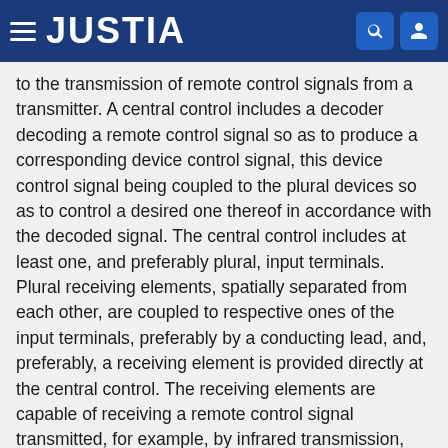JUSTIA
to the transmission of remote control signals from a transmitter. A central control includes a decoder decoding a remote control signal so as to produce a corresponding device control signal, this device control signal being coupled to the plural devices so as to control a desired one thereof in accordance with the decoded signal. The central control includes at least one, and preferably plural, input terminals. Plural receiving elements, spatially separated from each other, are coupled to respective ones of the input terminals, preferably by a conducting lead, and, preferably, a receiving element is provided directly at the central control. The receiving elements are capable of receiving a remote control signal transmitted, for example, by infrared transmission, from the transmitter.
Type: Grant
Filed: July 30, 1981